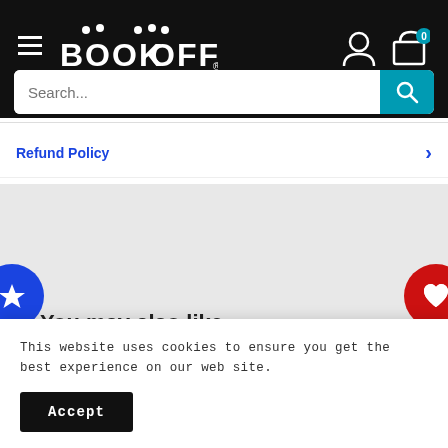BOOK-OFF
Search...
Refund Policy
You may also like
[Figure (screenshot): Product card 1 with heart icon, number 2, and manga/book cover image]
[Figure (screenshot): Product card 2 with heart icon, number 1, and manga/book cover image]
This website uses cookies to ensure you get the best experience on our web site.
Accept